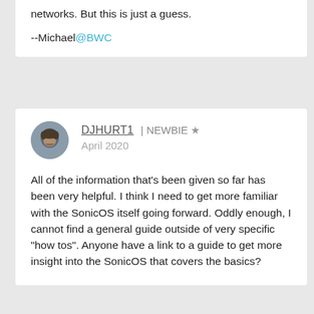networks. But this is just a guess.
--Michael@BWC
DJHURT1 | NEWBIE ★
April 2020
All of the information that's been given so far has been very helpful. I think I need to get more familiar with the SonicOS itself going forward. Oddly enough, I cannot find a general guide outside of very specific "how tos". Anyone have a link to a guide to get more insight into the SonicOS that covers the basics?